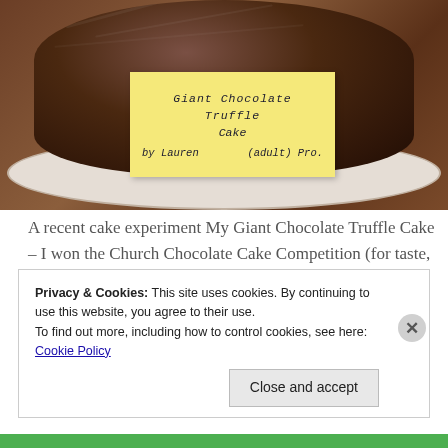[Figure (photo): Photo of a large round chocolate cake (top view) with a yellow sticky note on it reading: 'Giant Chocolate Truffle Cake by Lauren (adult) Pro.']
A recent cake experiment My Giant Chocolate Truffle Cake – I won the Church Chocolate Cake Competition (for taste, not presentation!)
Privacy & Cookies: This site uses cookies. By continuing to use this website, you agree to their use.
To find out more, including how to control cookies, see here: Cookie Policy
Close and accept